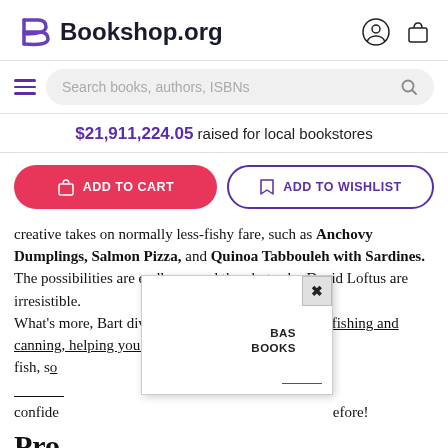Bookshop.org
Search books, authors, ISBNs
$21,911,224.05 raised for local bookstores
ADD TO CART | ADD TO WISHLIST
creative takes on normally less-fishy fare, such as Anchovy Dumplings, Salmon Pizza, and Quinoa Tabbouleh with Sardines. The possibilities are endless-- and the photos by David Loftus are irresistible. What's more, Bart dives into the wonders of modern fishing and canning, helping you recognize eco-friendly fish, so...h confidence...efore!
Pro